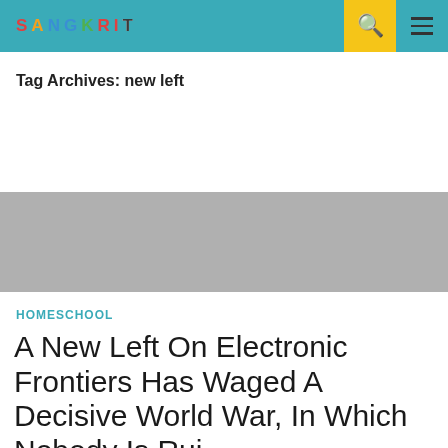SANGKRIT
Tag Archives: new left
[Figure (photo): Gray placeholder image block]
HOMESCHOOL
A New Left On Electronic Frontiers Has Waged A Decisive World War, In Which Nobody Is Rui...